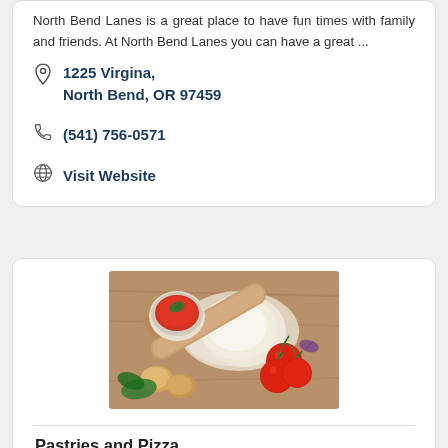North Bend Lanes is a great place to have fun times with family and friends. At North Bend Lanes you can have a great ...
1225 Virgina, North Bend, OR 97459
(541) 756-0571
Visit Website
[Figure (photo): Top-down view of pizza dough ingredients including a ball of white dough dusted with flour, a rolling pin, a small bowl of tomato sauce with a basil leaf, several ripe red tomatoes on the vine, eggs, and a purple basil leaf on a wooden surface.]
Pastries and Pizza